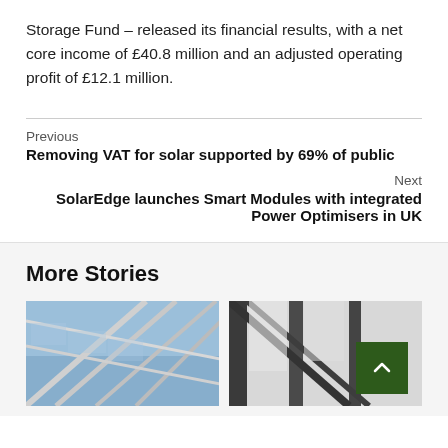Storage Fund – released its financial results, with a net core income of £40.8 million and an adjusted operating profit of £12.1 million.
Previous
Removing VAT for solar supported by 69% of public
Next
SolarEdge launches Smart Modules with integrated Power Optimisers in UK
More Stories
[Figure (photo): Photo of a building with a glass and metal roof structure, viewed from below at an angle against a blue sky]
[Figure (photo): Photo of a dark metal structure or canopy close-up, with a scroll-to-top button overlay in dark green]